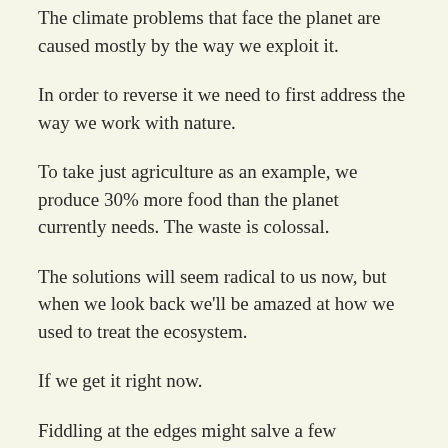The climate problems that face the planet are caused mostly by the way we exploit it.
In order to reverse it we need to first address the way we work with nature.
To take just agriculture as an example, we produce 30% more food than the planet currently needs. The waste is colossal.
The solutions will seem radical to us now, but when we look back we'll be amazed at how we used to treat the ecosystem.
If we get it right now.
Fiddling at the edges might salve a few consciences and help polluters to greenwash the unwary but only a change of our whole mindset towards nature will take us where we need to go.